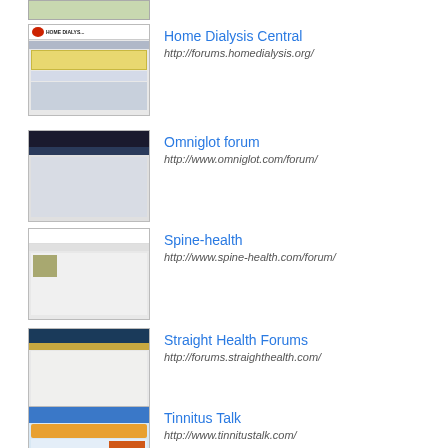[Figure (screenshot): Partial screenshot of a website at top of page (cropped)]
Home Dialysis Central
http://forums.homedialysis.org/
[Figure (screenshot): Screenshot thumbnail of Home Dialysis Central forum website]
Omniglot forum
http://www.omniglot.com/forum/
[Figure (screenshot): Screenshot thumbnail of Omniglot forum website]
Spine-health
http://www.spine-health.com/forum/
[Figure (screenshot): Screenshot thumbnail of Spine-health forum website]
Straight Health Forums
http://forums.straighthealth.com/
[Figure (screenshot): Screenshot thumbnail of Straight Health Forums website]
Tinnitus Talk
http://www.tinnitustalk.com/